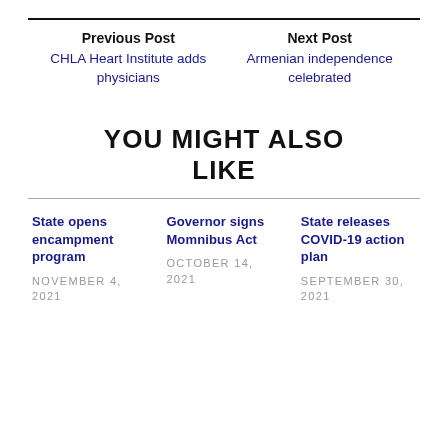Previous Post
CHLA Heart Institute adds physicians
Next Post
Armenian independence celebrated
YOU MIGHT ALSO LIKE
State opens encampment program
NOVEMBER 4, 2021
Governor signs Momnibus Act
OCTOBER 14, 2021
State releases COVID-19 action plan
SEPTEMBER 30, 2021